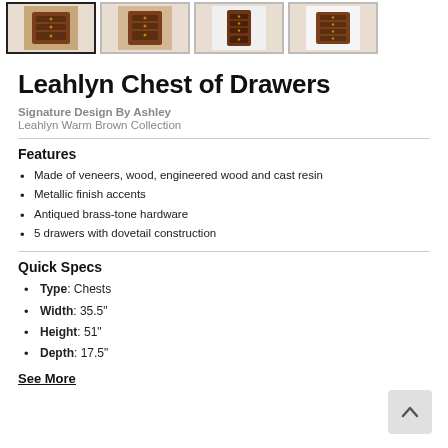[Figure (photo): Four thumbnail images of the Leahlyn Chest of Drawers, first one selected with bold border]
Leahlyn Chest of Drawers
Signature Design By Ashley
Leahlyn Warm Brown Collection
Features
Made of veneers, wood, engineered wood and cast resin
Metallic finish accents
Antiqued brass-tone hardware
5 drawers with dovetail construction
Quick Specs
Type: Chests
Width: 35.5"
Height: 51"
Depth: 17.5"
See More